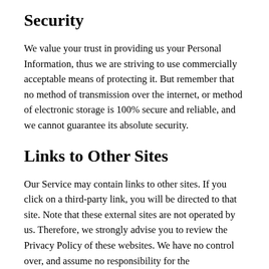Security
We value your trust in providing us your Personal Information, thus we are striving to use commercially acceptable means of protecting it. But remember that no method of transmission over the internet, or method of electronic storage is 100% secure and reliable, and we cannot guarantee its absolute security.
Links to Other Sites
Our Service may contain links to other sites. If you click on a third-party link, you will be directed to that site. Note that these external sites are not operated by us. Therefore, we strongly advise you to review the Privacy Policy of these websites. We have no control over, and assume no responsibility for the